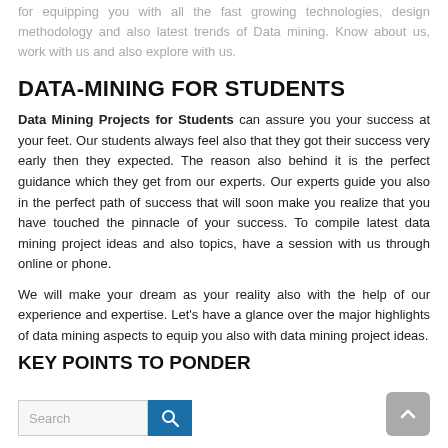for equipping you with all the fast growing technologies, design methodology and also latest trends of Data mining. Know about us, work with us and also explore with us.
DATA-MINING FOR STUDENTS
Data Mining Projects for Students can assure you your success at your feet. Our students always feel also that they got their success very early then they expected. The reason also behind it is the perfect guidance which they get from our experts. Our experts guide you also in the perfect path of success that will soon make you realize that you have touched the pinnacle of your success. To compile latest data mining project ideas and also topics, have a session with us through online or phone.
We will make your dream as your reality also with the help of our experience and expertise. Let's have a glance over the major highlights of data mining aspects to equip you also with data mining project ideas.
KEY POINTS TO PONDER